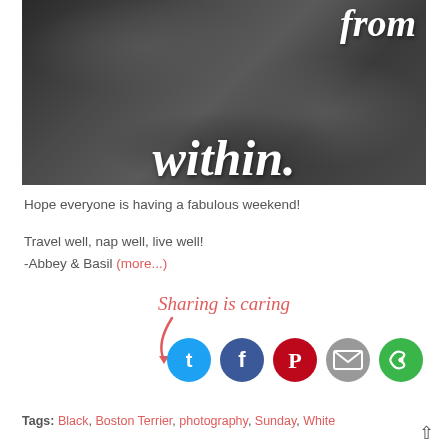[Figure (photo): Black and white photo with script text overlay reading 'from within.' with cursive white lettering on a dark background showing hands/person]
Hope everyone is having a fabulous weekend!
Travel well, nap well, live well!
-Abbey & Basil (more...)
[Figure (infographic): Sharing is caring section with arrow and social media icons: Twitter (blue), Facebook (dark blue), Pinterest (red), Email (gray), More (green)]
Tags: Black, Boston Terrier, photography, Sunday, White